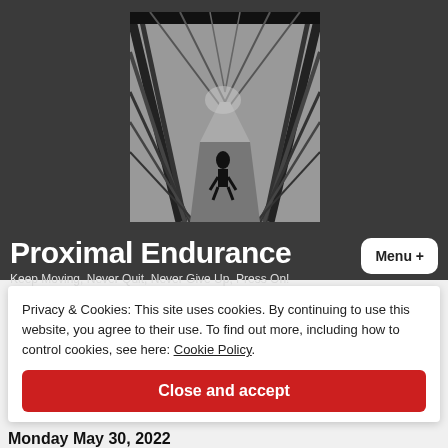[Figure (photo): Black and white photo of a person running through a steel bridge tunnel structure, viewed from behind, with dramatic angular shadows.]
Proximal Endurance
Menu +
Keep Moving, Never Quit, Never Give Up, Press On!
Privacy & Cookies: This site uses cookies. By continuing to use this website, you agree to their use. To find out more, including how to control cookies, see here: Cookie Policy
Close and accept
Monday May 30, 2022